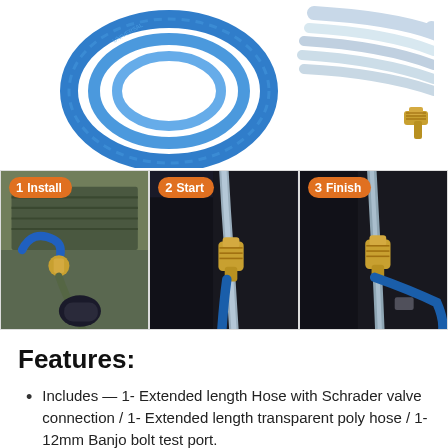[Figure (photo): Product photo showing a blue coiled hose and a transparent white hose with brass fitting connector on white background]
[Figure (photo): Three-step instructional photos: 1) Install - blue hose connected with brass angle fitting to engine; 2) Start - hose with brass connector attached; 3) Finish - hose fully connected]
Features:
Includes — 1- Extended length Hose with Schrader valve connection / 1- Extended length transparent poly hose / 1- 12mm Banjo bolt test port.